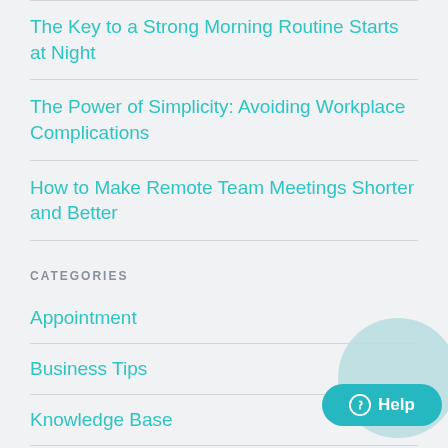The Key to a Strong Morning Routine Starts at Night
The Power of Simplicity: Avoiding Workplace Complications
How to Make Remote Team Meetings Shorter and Better
CATEGORIES
Appointment
Business Tips
Knowledge Base